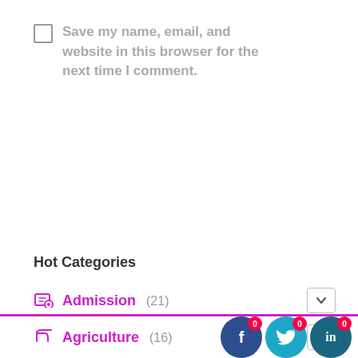Save my name, email, and website in this browser for the next time I comment.
POST COMMENT
Hot Categories
Admission (21)
Agriculture (16)